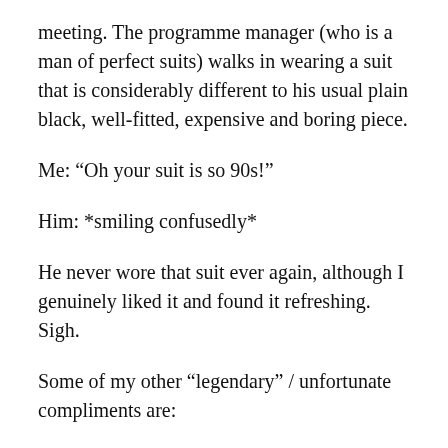meeting. The programme manager (who is a man of perfect suits) walks in wearing a suit that is considerably different to his usual plain black, well-fitted, expensive and boring piece.
Me: “Oh your suit is so 90s!”
Him: *smiling confusedly*
He never wore that suit ever again, although I genuinely liked it and found it refreshing. Sigh.
Some of my other “legendary” / unfortunate compliments are:
I love the shape of your skull!